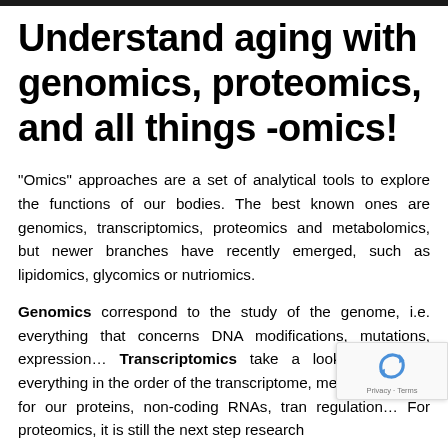Understand aging with genomics, proteomics, and all things -omics!
“Omics” approaches are a set of analytical tools to explore the functions of our bodies. The best known ones are genomics, transcriptomics, proteomics and metabolomics, but newer branches have recently emerged, such as lipidomics, glycomics or nutriomics.
Genomics correspond to the study of the genome, i.e. everything that concerns DNA modifications, mutations, expression… Transcriptomics take a look at the next everything in the order of the transcriptome, me RNAs coding for our proteins, non-coding RNAs, tran regulation… For proteomics, it is still the next step research